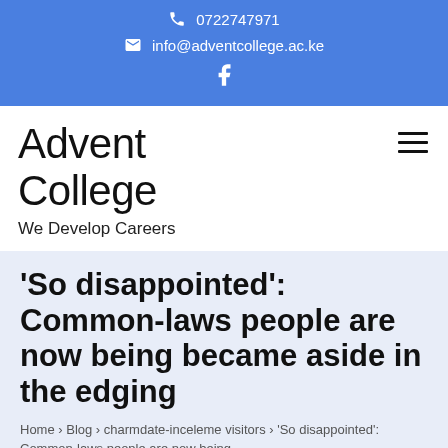0722747971  info@adventcollege.ac.ke
Advent College
We Develop Careers
'So disappointed': Common-laws people are now being became aside in the edging
Home › Blog › charmdate-inceleme visitors › 'So disappointed': Common-laws people are now being